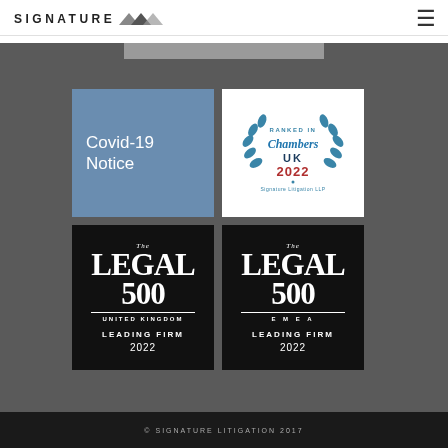SIGNATURE
[Figure (logo): Signature Litigation logo with triangular geometric icons and hamburger menu]
[Figure (illustration): Covid-19 Notice card (blue background, white text)]
[Figure (illustration): Ranked in Chambers UK 2022 badge for Signature Litigation LLP]
[Figure (illustration): The Legal 500 United Kingdom Leading Firm 2022 badge (black background)]
[Figure (illustration): The Legal 500 EMEA Leading Firm 2022 badge (black background)]
© SIGNATURE LITIGATION 2017